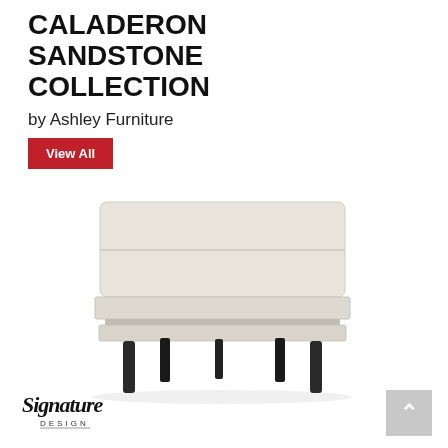CALADERON SANDSTONE COLLECTION
by Ashley Furniture
View All
[Figure (photo): Sandstone ottoman with cream/beige upholstery and dark tapered legs, photographed on white background]
[Figure (logo): Signature Design by Ashley cursive logo with 'DESIGN' text below]